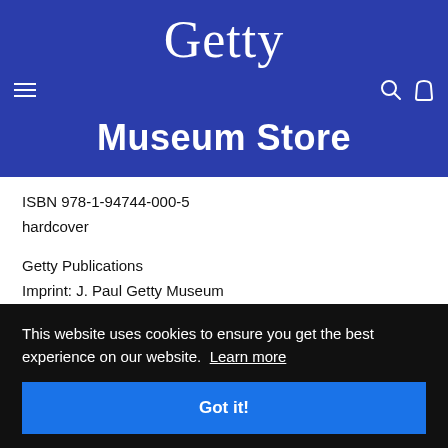Getty
Museum Store
ISBN 978-1-94744-000-5
hardcover
Getty Publications
Imprint: J. Paul Getty Museum
2017
This website uses cookies to ensure you get the best experience on our website. Learn more
Got it!